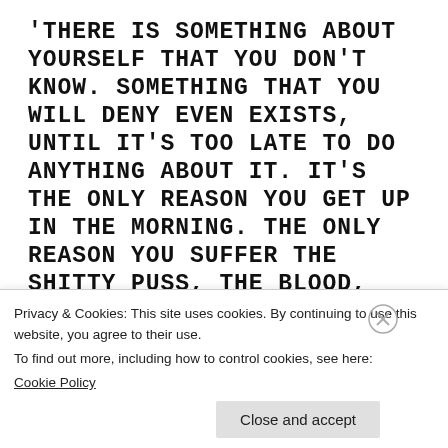'THERE IS SOMETHING ABOUT YOURSELF THAT YOU DON'T KNOW. SOMETHING THAT YOU WILL DENY EVEN EXISTS, UNTIL IT'S TOO LATE TO DO ANYTHING ABOUT IT. IT'S THE ONLY REASON YOU GET UP IN THE MORNING. THE ONLY REASON YOU SUFFER THE SHITTY PUSS, THE BLOOD, THE SWEAT AND THE TEARS. THIS IS BECAUSE YOU WANT PEOPLE TO KNOW HOW GOOD, ATTRACTIVE, GENEROUS, FUNNY, WILD AND CLEVER YOU REALLY ARE. FEAR OR
Privacy & Cookies: This site uses cookies. By continuing to use this website, you agree to their use.
To find out more, including how to control cookies, see here:
Cookie Policy
Close and accept